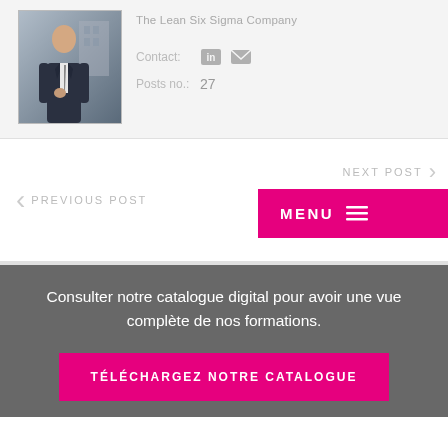[Figure (photo): Profile photo of a man in a dark suit and tie, standing outdoors]
The Lean Six Sigma Company
Contact:
Posts no.: 27
PREVIOUS POST
NEXT POST
MENU ☰
Consulter notre catalogue digital pour avoir une vue complète de nos formations.
TÉLÉCHARGEZ NOTRE CATALOGUE